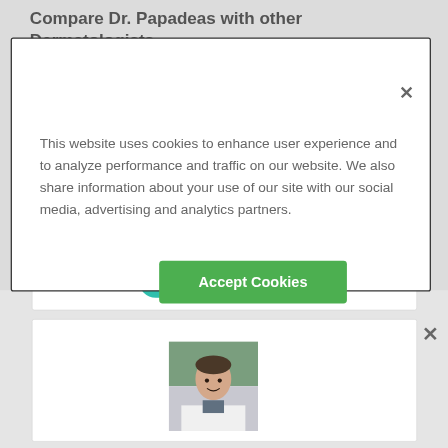Compare Dr. Papadeas with other Dermatologists near you
This website uses cookies to enhance user experience and to analyze performance and traffic on our website. We also share information about your use of our site with our social media, advertising and analytics partners.
Accept Cookies
Learn More
[Figure (photo): Photo of a male doctor in a white coat, smiling, outdoors background]